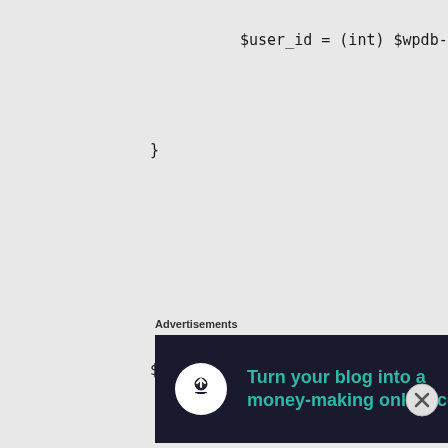$user_id = (int) $wpdb->i
}
$user = new WP_User( $user_id );
foreach ( _get_additional_user_ke
if ( isset( $$kev ) )
Advertisements
[Figure (infographic): Advertisement banner with dark background: icon of person uploading, teal text 'Turn your blog into a money-making online course.' with arrow button]